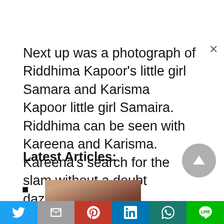Next up was a photograph of Riddhima Kapoor's little girl Samara and Karisma Kapoor little girl Samaira. Riddhima can be seen with Kareena and Karisma. Kareena's search for the slam without a doubt dazzled style.
Latest Articles:
[Figure (photo): A portrait photo of a woman with curly hair, appears to be a vintage/classic Hollywood style photograph]
[Figure (other): Scroll-to-top button, circular grey arrow pointing up]